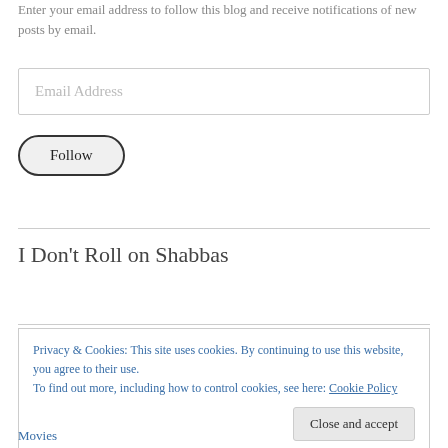Enter your email address to follow this blog and receive notifications of new posts by email.
[Figure (other): Email address input field with placeholder text 'Email Address']
[Figure (other): Follow button with rounded border]
I Don’t Roll on Shabbas
Privacy & Cookies: This site uses cookies. By continuing to use this website, you agree to their use.
To find out more, including how to control cookies, see here: Cookie Policy
Close and accept
Movies